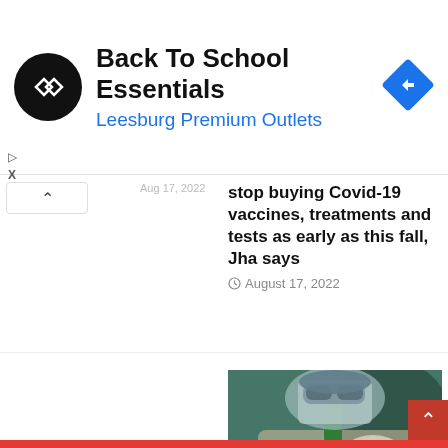[Figure (screenshot): Advertisement banner for Back To School Essentials at Leesburg Premium Outlets with logo and navigation arrow icon]
August 17, 2022 (partial, cut off)
stop buying Covid-19 vaccines, treatments and tests as early as this fall, Jha says
August 17, 2022
[Figure (photo): Healthcare worker in PPE gear examining a vaccine vial]
Why calling monkeypox an STD is about more than just a label
August 16, 2022
Egypt's COVID-19 situation remains stable, cases down 50%: Minister
August 16, 2022